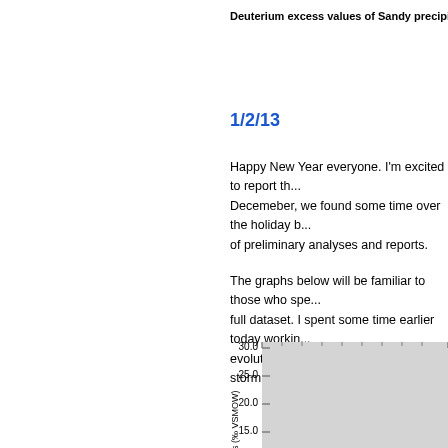Deuterium excess values of Sandy precipitation from 10/2...
1/2/13
Happy New Year everyone. I'm excited to report th... Decemeber, we found some time over the holiday b... of preliminary analyses and reports.
The graphs below will be familiar to those who spe... full dataset. I spent some time earlier today workin... evolution of water isotopes in the storm, and will w...
[Figure (continuous-plot): Partial view of a line/scatter chart showing deuterium excess values (‰ VSMOW) on the y-axis with values visible: 30.0, 25.0, 20.0, 15.0. The x-axis is cut off. The plot area has a light gray background.]